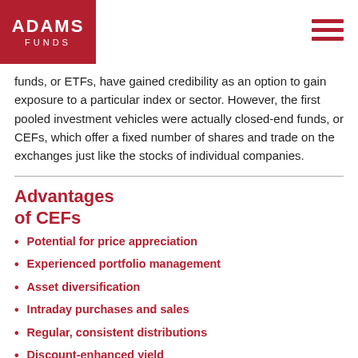ADAMS FUNDS
funds, or ETFs, have gained credibility as an option to gain exposure to a particular index or sector. However, the first pooled investment vehicles were actually closed-end funds, or CEFs, which offer a fixed number of shares and trade on the exchanges just like the stocks of individual companies.
Advantages of CEFs
Potential for price appreciation
Experienced portfolio management
Asset diversification
Intraday purchases and sales
Regular, consistent distributions
Discount-enhanced yield